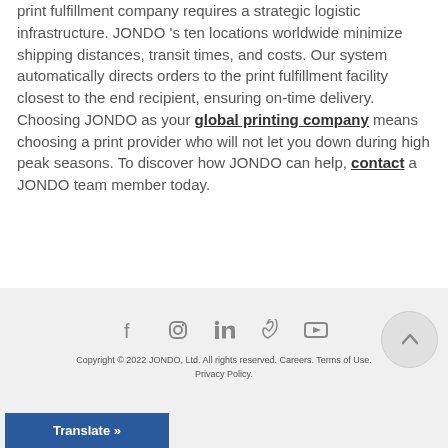print fulfillment company requires a strategic logistic infrastructure. JONDO 's ten locations worldwide minimize shipping distances, transit times, and costs. Our system automatically directs orders to the print fulfillment facility closest to the end recipient, ensuring on-time delivery. Choosing JONDO as your global printing company means choosing a print provider who will not let you down during high peak seasons. To discover how JONDO can help, contact a JONDO team member today.
Copyright © 2022 JONDO, Ltd. All rights reserved. Careers. Terms of Use. Privacy Policy.